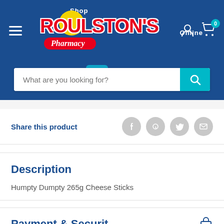[Figure (screenshot): Roulston's Pharmacy IDA online shop header with logo, search bar, hamburger menu, user icon, and cart icon on dark blue background]
Share this product
Description
Humpty Dumpty 265g Cheese Sticks
Payment & Security